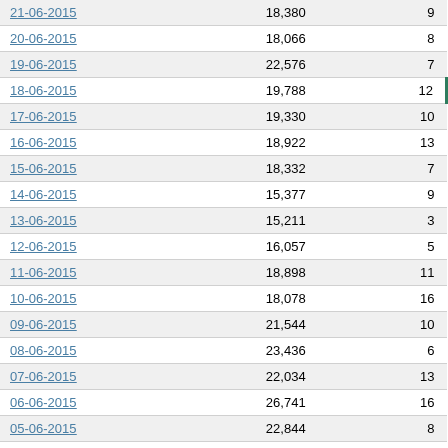| 21-06-2015 | 18,380 | 9 |
| 20-06-2015 | 18,066 | 8 |
| 19-06-2015 | 22,576 | 7 |
| 18-06-2015 | 19,788 | 12 |
| 17-06-2015 | 19,330 | 10 |
| 16-06-2015 | 18,922 | 13 |
| 15-06-2015 | 18,332 | 7 |
| 14-06-2015 | 15,377 | 9 |
| 13-06-2015 | 15,211 | 3 |
| 12-06-2015 | 16,057 | 5 |
| 11-06-2015 | 18,898 | 11 |
| 10-06-2015 | 18,078 | 16 |
| 09-06-2015 | 21,544 | 10 |
| 08-06-2015 | 23,436 | 6 |
| 07-06-2015 | 22,034 | 13 |
| 06-06-2015 | 26,741 | 16 |
| 05-06-2015 | 22,844 | 8 |
| 04-06-2015 | 20,673 | 5 |
| 03-06-2015 | 21,435 | 9 |
| 02-06-2015 | 23,725 | 7 |
| 01-06-2015 | 23,100 | 8 |